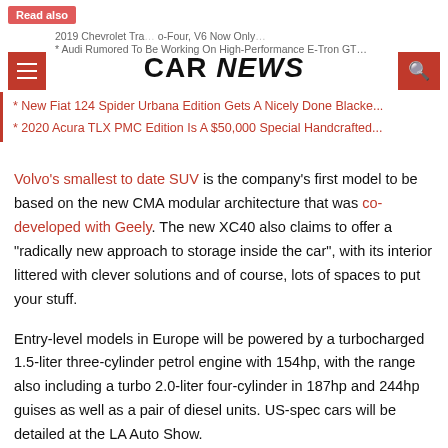CAR NEWS
* New Fiat 124 Spider Urbana Edition Gets A Nicely Done Blacke...
* 2020 Acura TLX PMC Edition Is A $50,000 Special Handcrafted...
Volvo's smallest to date SUV is the company's first model to be based on the new CMA modular architecture that was co-developed with Geely. The new XC40 also claims to offer a "radically new approach to storage inside the car", with its interior littered with clever solutions and of course, lots of spaces to put your stuff.
Entry-level models in Europe will be powered by a turbocharged 1.5-liter three-cylinder petrol engine with 154hp, with the range also including a turbo 2.0-liter four-cylinder in 187hp and 244hp guises as well as a pair of diesel units. US-spec cars will be detailed at the LA Auto Show.